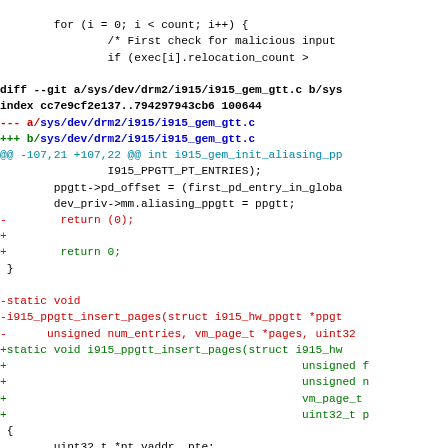for (i = 0; i < count; i++) {
        /* First check for malicious input
        if (exec[i].relocation_count >
diff --git a/sys/dev/drm2/i915/i915_gem_gtt.c b/sys...
index cc7e9cf2e137..794297943cb6 100644
--- a/sys/dev/drm2/i915/i915_gem_gtt.c
+++ b/sys/dev/drm2/i915/i915_gem_gtt.c
@@ -107,21 +107,22 @@ int i915_gem_init_aliasing_pp...
Code diff showing changes to i915_ppgtt_insert_pages function